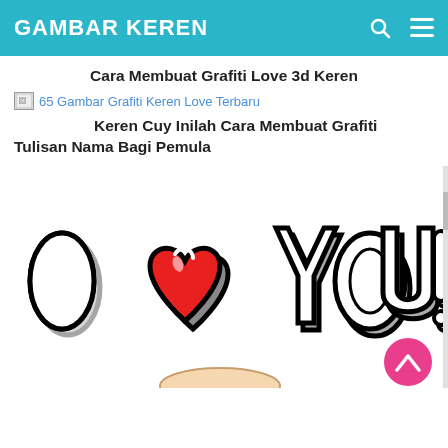GAMBAR KEREN
Cara Membuat Grafiti Love 3d Keren
[Figure (screenshot): Broken image placeholder icon with alt text '65 Gambar Grafiti Keren Love Terbaru' shown as a hyperlink]
Keren Cuy Inilah Cara Membuat Grafiti Tulisan Nama Bagi Pemula
[Figure (illustration): Graffiti-style 'I Love You' artwork with bold black outlines, red heart, white bubble letters on white background, with a hand holding it at the bottom and a pink back-to-top button in lower right]